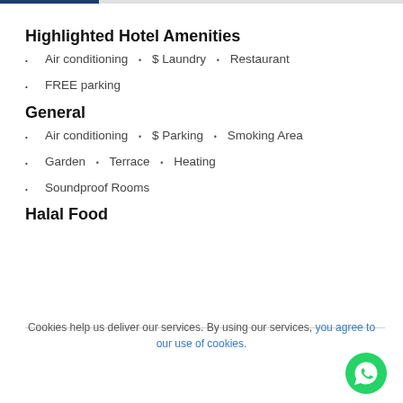Highlighted Hotel Amenities
Air conditioning • $ Laundry • Restaurant
FREE parking
General
Air conditioning • $ Parking • Smoking Area
Garden • Terrace • Heating
Soundproof Rooms
Halal Food
Cookies help us deliver our services. By using our services, you agree to our use of cookies.